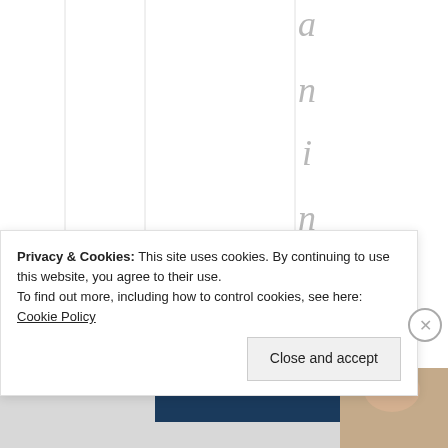[Figure (other): Web page screenshot showing vertical stacked letters spelling 'aninjecting' on the right side of the page against a white background with faint column dividers, with a bottom image strip showing a dark blue bar on the left and a photo on the right]
Privacy & Cookies: This site uses cookies. By continuing to use this website, you agree to their use.
To find out more, including how to control cookies, see here: Cookie Policy
Close and accept